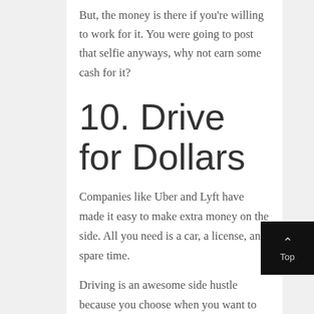But, the money is there if you're willing to work for it. You were going to post that selfie anyways, why not earn some cash for it?
10. Drive for Dollars
Companies like Uber and Lyft have made it easy to make extra money on the side. All you need is a car, a license, and spare time.
Driving is an awesome side hustle because you choose when you want to work. Keep working your 9-5 during the week. Weekend nights